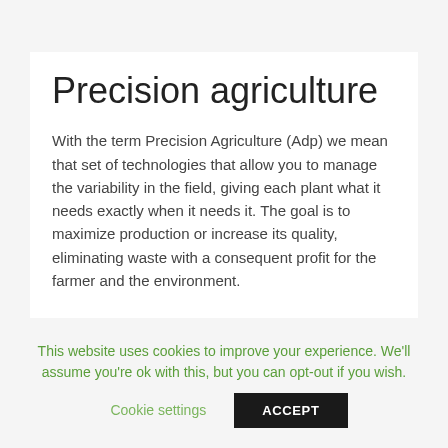Precision agriculture
With the term Precision Agriculture (Adp) we mean that set of technologies that allow you to manage the variability in the field, giving each plant what it needs exactly when it needs it. The goal is to maximize production or increase its quality, eliminating waste with a consequent profit for the farmer and the environment.
This website uses cookies to improve your experience. We'll assume you're ok with this, but you can opt-out if you wish.
Cookie settings
ACCEPT